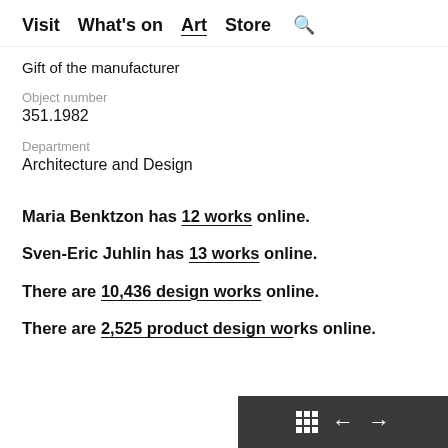Visit   What's on   Art   Store   🔍
Gift of the manufacturer
Object number
351.1982
Department
Architecture and Design
Maria Benktzon has 12 works online.
Sven-Eric Juhlin has 13 works online.
There are 10,436 design works online.
There are 2,525 product design works online.